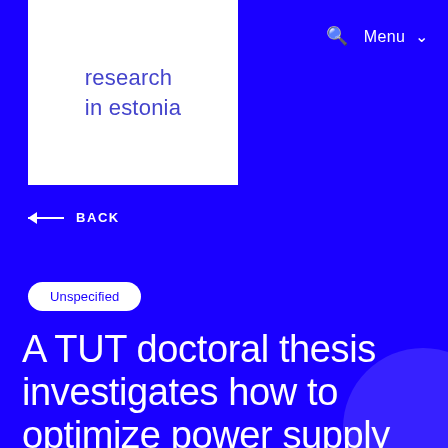🔍  Menu ∨
[Figure (logo): research in estonia logo – blue text on white background]
← BACK
Unspecified
A TUT doctoral thesis investigates how to optimize power supply network investments in Estonian rural areas